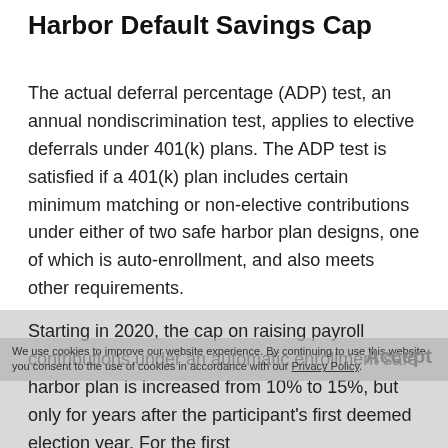Harbor Default Savings Cap
The actual deferral percentage (ADP) test, an annual nondiscrimination test, applies to elective deferrals under 401(k) plans. The ADP test is satisfied if a 401(k) plan includes certain minimum matching or non-elective contributions under either of two safe harbor plan designs, one of which is auto-enrollment, and also meets other requirements.
Starting in 2020, the cap on raising payroll contributions under an automatic enrollment safe harbor plan is increased from 10% to 15%, but only for years after the participant's first deemed election year. For the first